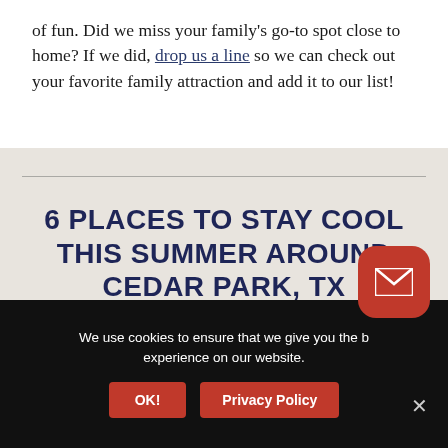of fun. Did we miss your family's go-to spot close to home? If we did, drop us a line so we can check out your favorite family attraction and add it to our list!
6 PLACES TO STAY COOL THIS SUMMER AROUND CEDAR PARK, TX
JUNE 24, 2022
We use cookies to ensure that we give you the best experience on our website.